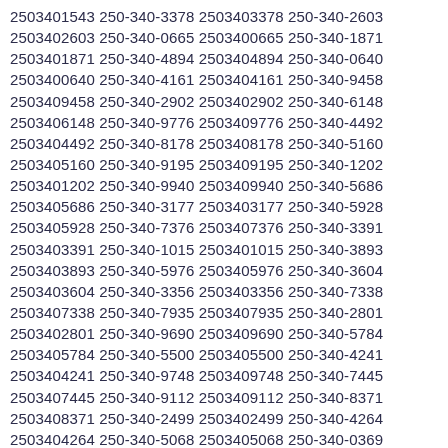2503401543 250-340-3378 2503403378 250-340-2603 2503402603 250-340-0665 2503400665 250-340-1871 2503401871 250-340-4894 2503404894 250-340-0640 2503400640 250-340-4161 2503404161 250-340-9458 2503409458 250-340-2902 2503402902 250-340-6148 2503406148 250-340-9776 2503409776 250-340-4492 2503404492 250-340-8178 2503408178 250-340-5160 2503405160 250-340-9195 2503409195 250-340-1202 2503401202 250-340-9940 2503409940 250-340-5686 2503405686 250-340-3177 2503403177 250-340-5928 2503405928 250-340-7376 2503407376 250-340-3391 2503403391 250-340-1015 2503401015 250-340-3893 2503403893 250-340-5976 2503405976 250-340-3604 2503403604 250-340-3356 2503403356 250-340-7338 2503407338 250-340-7935 2503407935 250-340-2801 2503402801 250-340-9690 2503409690 250-340-5784 2503405784 250-340-5500 2503405500 250-340-4241 2503404241 250-340-9748 2503409748 250-340-7445 2503407445 250-340-9112 2503409112 250-340-8371 2503408371 250-340-2499 2503402499 250-340-4264 2503404264 250-340-5068 2503405068 250-340-0369 2503400369 250-340-3887 2503403887 250-340-2005 2503402005 250-340-3619 2503403619 250-340-9644 2503409644 250-340-9811 2503409811 250-340-8975 2503408975 250-340-5797 2503405797 250-340-2916